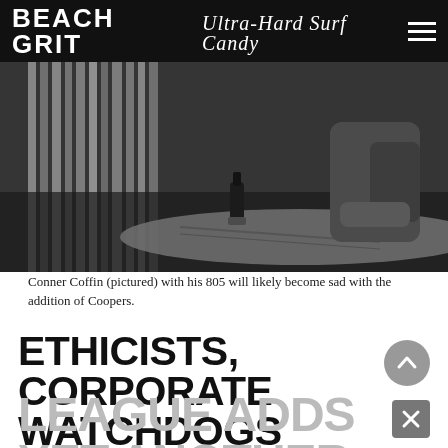BEACH GRIT Ultra-Hard Surf Candy
[Figure (photo): Black and white photo of Conner Coffin working on a surfboard in a board shop, with a 805 beer bottle visible on the table, surfboards stacked in the background.]
Conner Coffin (pictured) with his 805 will likely become sad with the addition of Coopers.
ETHICISTS, CORPORATE WATCHDOGS EXTREMELY TROUBLED AFTER WORLD SURF LEAGUE ADDS YET ANOTHER BEER